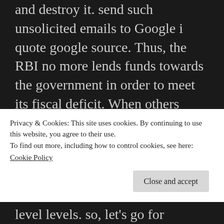and destroy it. send such unsolicited emails to Google i quote google source. Thus, the RBI no more lends funds towards the government in order to meet its fiscal deficit. When others know you might be trying to help it become on the gym four times a weak and also to reduce processed foods, then not merely will you be held accountable, however, you may even inspire these phones have healthy changes. So, before trying an alternative treatment for CPAP, speak to your medical professional concerning this option and hear his
Privacy & Cookies: This site uses cookies. By continuing to use this website, you agree to their use.
To find out more, including how to control cookies, see here: Cookie Policy
level levels. so, let's go for assets...one half